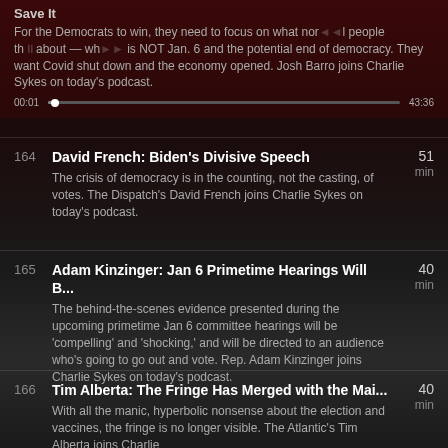Save It — For the Democrats to win, they need to focus on what normal people think about — which is NOT Jan. 6 and the potential end of democracy. They want Covid shut down and the economy opened. Josh Barro joins Charlie Sykes on today's podcast. 00:01 ... 43:36
164 | David French: Biden's Divisive Speech | 51 min — The crisis of democracy is in the counting, not the casting, of votes. The Dispatch's David French joins Charlie Sykes on today's podcast.
165 | Adam Kinzinger: Jan 6 Primetime Hearings Will B... | 40 min — The behind-the-scenes evidence presented during the upcoming primetime Jan 6 committee hearings will be 'compelling' and 'shocking,' and will be directed to an audience who's going to go out and vote. Rep. Adam Kinzinger joins Charlie Sykes on today's podcast.
166 | Tim Alberta: The Fringe Has Merged with the Mai... | 40 min — With all the manic, hyperbolic nonsense about the election and vaccines, the fringe is no longer visible. The Atlantic's Tim Alberta joins Charlie